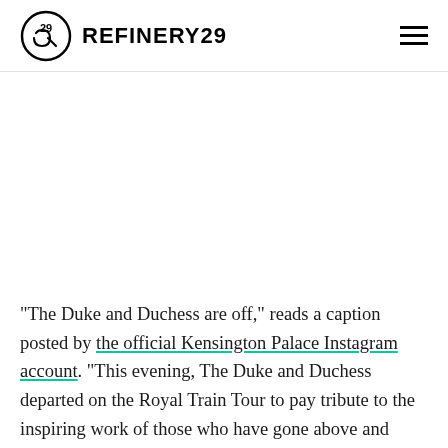REFINERY29
“The Duke and Duchess are off,” reads a caption posted by the official Kensington Palace Instagram account. “This evening, The Duke and Duchess departed on the Royal Train Tour to pay tribute to the inspiring work of those who have gone above and beyond to support communities across England, Scotland, and Wales,” the caption